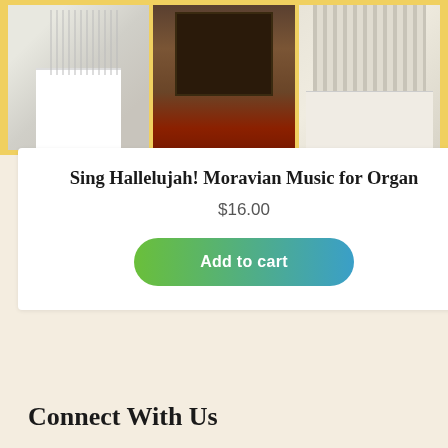[Figure (photo): Three organ instrument photos side by side on a yellow/gold background: left shows a white organ console with music stand, center shows a dark wooden organ on red carpet in a library setting, right shows cream/white organ pipes and cabinet.]
Sing Hallelujah! Moravian Music for Organ
$16.00
Add to cart
Connect With Us